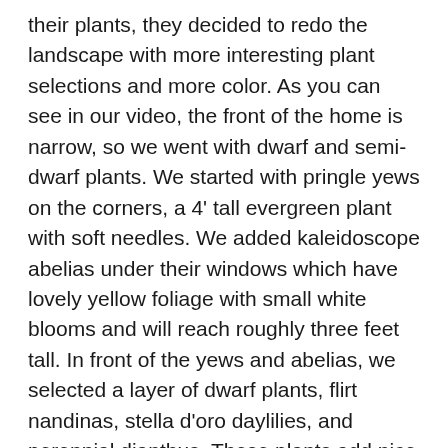their plants, they decided to redo the landscape with more interesting plant selections and more color. As you can see in our video, the front of the home is narrow, so we went with dwarf and semi-dwarf plants. We started with pringle yews on the corners, a 4' tall evergreen plant with soft needles. We added kaleidoscope abelias under their windows which have lovely yellow foliage with small white blooms and will reach roughly three feet tall. In front of the yews and abelias, we selected a layer of dwarf plants, flirt nandinas, stella d'oro daylilies, and perennial dianthus. These plants add nice color and texture throughout the spring and summer months. We used a brown composite edging for their border, which looks great and is more economical than stone borders and won't rust as the green steel edging does.